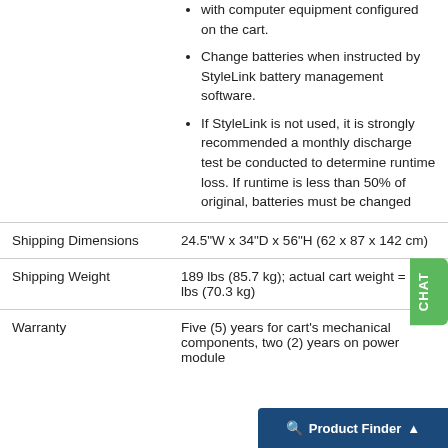with computer equipment configured on the cart.
Change batteries when instructed by StyleLink battery management software.
If StyleLink is not used, it is strongly recommended a monthly discharge test be conducted to determine runtime loss. If runtime is less than 50% of original, batteries must be changed
|  |  |
| --- | --- |
| Shipping Dimensions | 24.5"W x 34"D x 56"H (62 x 87 x 142 cm) |
| Shipping Weight | 189 lbs (85.7 kg); actual cart weight = 155 lbs (70.3 kg) |
| Warranty | Five (5) years for cart's mechanical components, two (2) years on power module |